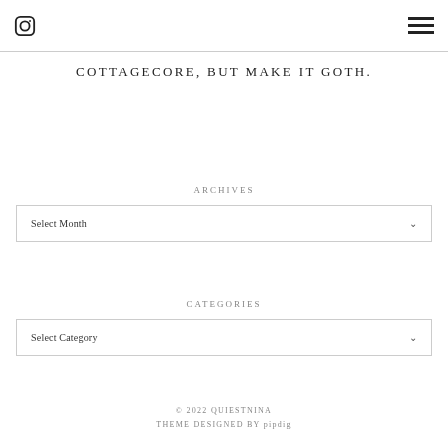[Instagram icon] [Hamburger menu]
COTTAGECORE, BUT MAKE IT GOTH.
ARCHIVES
Select Month
CATEGORIES
Select Category
© 2022 QUIESTNINA
THEME DESIGNED BY pipdig